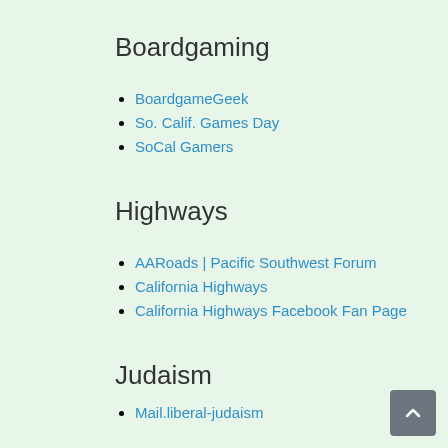Boardgaming
BoardgameGeek
So. Calif. Games Day
SoCal Gamers
Highways
AARoads | Pacific Southwest Forum
California Highways
California Highways Facebook Fan Page
Judaism
Mail.liberal-judaism
Men of Temple Ahavat Shalom (MoTAS)
S.C.J FAQ/Reading Lists